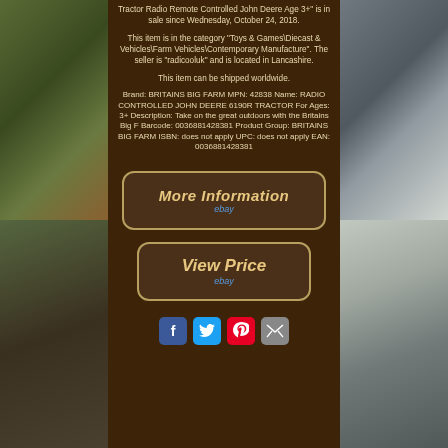Tractor Radio Remote Controlled John Deere Age 3+" is in sale since Wednesday, October 24, 2018.
This item is in the category "Toys & Games\Diecast & Vehicles\Farm Vehicles\Contemporary Manufacture". The seller is "radicooluk" and is located in Lancashire.
This item can be shipped worldwide.
Brand: BRITAINS BIG FARM MPN: 42838 Name: RADIO CONTROLLED JOHN DEERE 6190R TRACTOR For Ages: 3+ Description: Take on the great outdoors with the Britains Big F Barcode: 0036881428381 Product Group: BRITAINS BIG FARM ISBN: does not apply UPC: does not apply EAN: 0036881428381
[Figure (other): eBay button - More Information]
[Figure (other): eBay button - View Price]
[Figure (other): Social sharing buttons: Facebook, Twitter, Pinterest, Email]